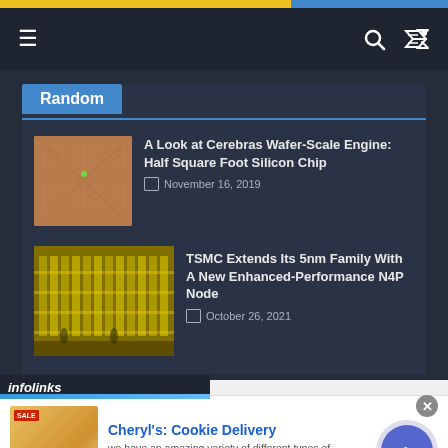Navigation bar with hamburger menu, search and shuffle icons
Random
A Look at Cerebras Wafer-Scale Engine: Half Square Foot Silicon Chip
November 16, 2019
TSMC Extends Its 5nm Family With A New Enhanced-Performance N4P Node
October 26, 2021
[Figure (screenshot): infolinks advertisement bar]
[Figure (screenshot): Advertisement: Cheryl's Cookie Delivery - we have an amazing variety of different types of cookies - cheryls.com]